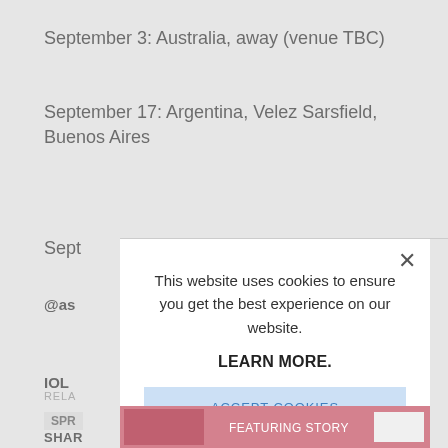September 3: Australia, away (venue TBC)
September 17: Argentina, Velez Sarsfield, Buenos Aires
Sept
@as
IOL
RELA
SPR
SHAR
[Figure (screenshot): Cookie consent modal overlay with text 'This website uses cookies to ensure you get the best experience on our website.' and a 'LEARN MORE.' link and 'ACCEPT COOKIES' button. A close (X) button is in the top right of the modal. Background page content is partially visible behind the overlay.]